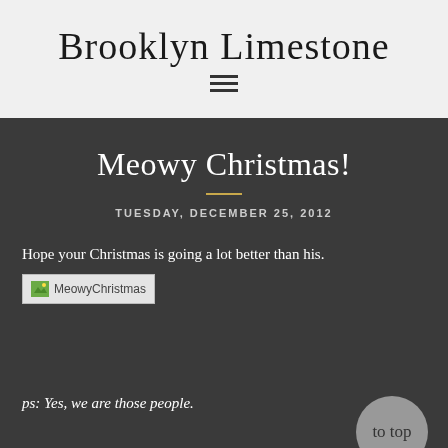Brooklyn Limestone
Meowy Christmas!
TUESDAY, DECEMBER 25, 2012
Hope your Christmas is going a lot better than his.
[Figure (photo): Broken image placeholder labeled MeowyChristmas]
ps: Yes, we are those people.